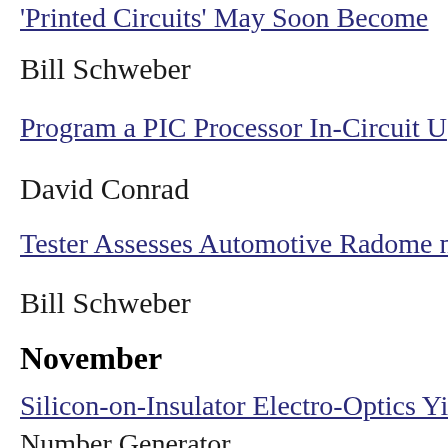'Printed Circuits' May Soon Become…
Bill Schweber
Program a PIC Processor In-Circuit U…
David Conrad
Tester Assesses Automotive Radome n…
Bill Schweber
November
Silicon-on-Insulator Electro-Optics Yi…
Number Generator